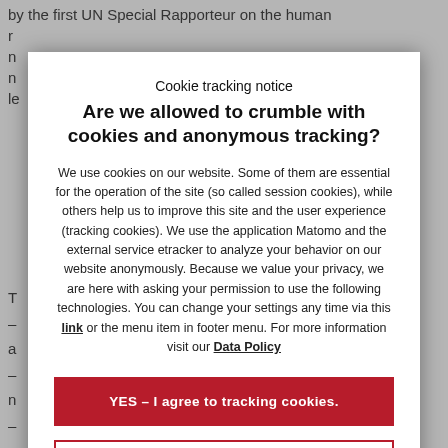by the first UN Special Rapporteur on the human right... r... n... le...
T... – ... a... – ... n... – ... n... – ... h... – ... c... – ... a... n...
Cookie tracking notice
Are we allowed to crumble with cookies and anonymous tracking?
We use cookies on our website. Some of them are essential for the operation of the site (so called session cookies), while others help us to improve this site and the user experience (tracking cookies). We use the application Matomo and the external service etracker to analyze your behavior on our website anonymously. Because we value your privacy, we are here with asking your permission to use the following technologies. You can change your settings any time via this link or the menu item in footer menu. For more information visit our Data Policy
YES – I agree to tracking cookies.
No thanks – I agree to session cookies